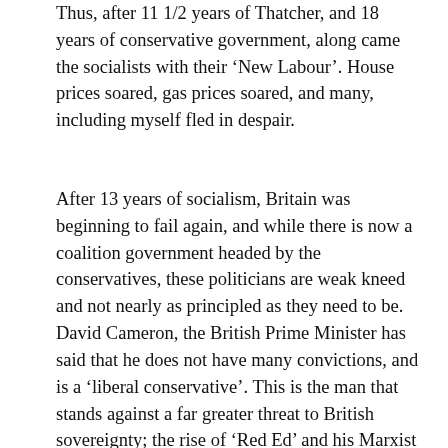Thus, after 11 1/2 years of Thatcher, and 18 years of conservative government, along came the socialists with their 'New Labour'. House prices soared, gas prices soared, and many, including myself fled in despair.
After 13 years of socialism, Britain was beginning to fail again, and while there is now a coalition government headed by the conservatives, these politicians are weak kneed and not nearly as principled as they need to be. David Cameron, the British Prime Minister has said that he does not have many convictions, and is a 'liberal conservative'. This is the man that stands against a far greater threat to British sovereignty; the rise of 'Red Ed' and his Marxist policies. Ed Milliband, the leader of the Labour party, has pledged to re-nationalize industries, and punish those that make a profit. His ideology stems from his father, who was